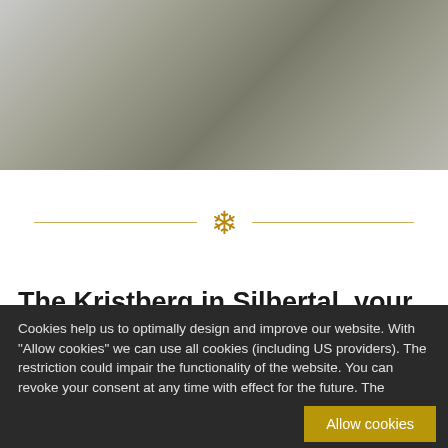[Figure (photo): Blurred hero banner image with gradient grey and dark tones, representing a mountain/snow scene header]
[Figure (illustration): Horizontal decorative divider with a gold snowflake icon centered between two gold horizontal lines]
The Kristberg in Silbertal, your small and fine snow area ...
Cookies help us to optimally design and improve our website. With "Allow cookies" we can use all cookies (including US providers). The restriction could impair the functionality of the website. You can revoke your consent at any time with effect for the future. The easiest way is to adjust your selection under "Cookie settings".   Details   Cookie settings
Allow cookies